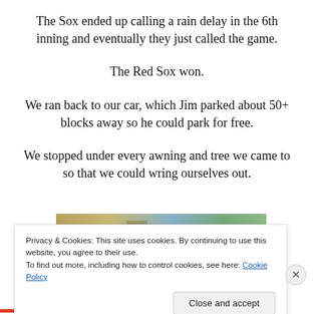The Sox ended up calling a rain delay in the 6th inning and eventually they just called the game.
The Red Sox won.
We ran back to our car, which Jim parked about 50+ blocks away so he could park for free.
We stopped under every awning and tree we came to so that we could wring ourselves out.
[Figure (photo): Partial outdoor photo showing trees and sky, cropped by cookie banner overlay]
Privacy & Cookies: This site uses cookies. By continuing to use this website, you agree to their use.
To find out more, including how to control cookies, see here: Cookie Policy
Close and accept